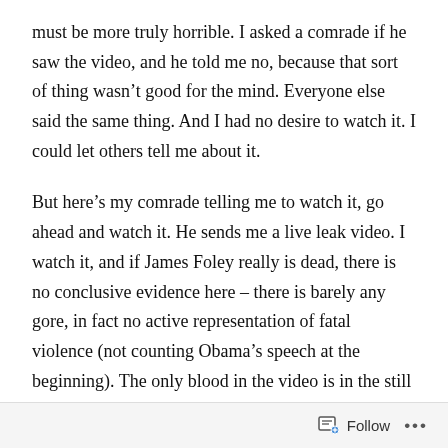must be more truly horrible. I asked a comrade if he saw the video, and he told me no, because that sort of thing wasn't good for the mind. Everyone else said the same thing. And I had no desire to watch it. I could let others tell me about it.
But here's my comrade telling me to watch it, go ahead and watch it. He sends me a live leak video. I watch it, and if James Foley really is dead, there is no conclusive evidence here – there is barely any gore, in fact no active representation of fatal violence (not counting Obama's speech at the beginning). The only blood in the video is in the still image of a decapitated body whose face is covered in blood. And there is no way to say that it's James Foley. As the shrouded menace grabs James Foley by the chin and begins to saw away at his neck, the movement is exaggerated and there
Follow ···